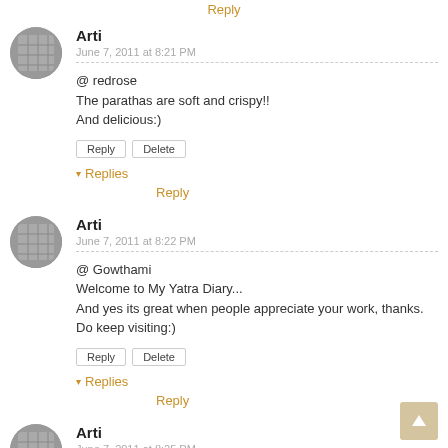Reply (partial, top)
Arti
June 7, 2011 at 8:21 PM
@ redrose
The parathas are soft and crispy!!
And delicious:)
Reply | Delete
▾ Replies
Reply
Arti
June 7, 2011 at 8:22 PM
@ Gowthami
Welcome to My Yatra Diary...
And yes its great when people appreciate your work, thanks. Do keep visiting:)
Reply | Delete
▾ Replies
Reply
Arti
June 7, 2011 at 8:25 PM